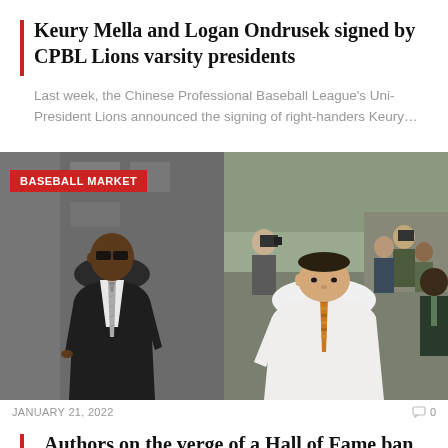Keury Mella and Logan Ondrusek signed by CPBL Lions varsity presidents
Last week, the Chinese Professional Baseball League's Uni-President Lions announced the signing of right-handers Keury…
[Figure (photo): Two side-by-side photos of men in formal attire. Left photo shows a tall Black man in a dark suit with sunglasses. Right photo shows a white man in a white dress shirt with a patterned tie surrounded by media and photographers. A red 'BASEBALL MARKET' badge overlays the top-left of the left photo.]
JANUARY 21, 2022   0
Authors on the verge of a Hall of Fame ban by Barry